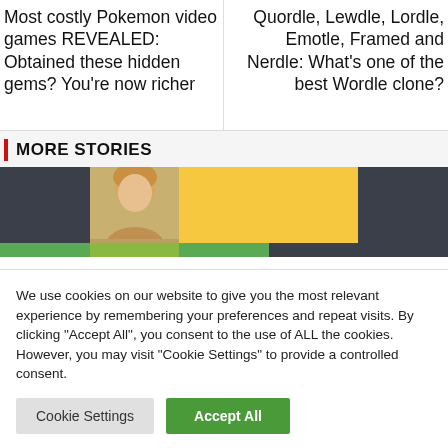Most costly Pokemon video games REVEALED: Obtained these hidden gems? You’re now richer
Quordle, Lewdle, Lordle, Emotle, Framed and Nerdle: What’s one of the best Wordle clone?
MORE STORIES
[Figure (photo): Row of five thumbnail images for more stories section: dark grey panel, person with blonde hair, yellow panel, yellow panel, dark grey panel. Each thumbnail has a colored bar at the bottom (green, yellow-green, green, dark grey, dark grey).]
We use cookies on our website to give you the most relevant experience by remembering your preferences and repeat visits. By clicking “Accept All”, you consent to the use of ALL the cookies. However, you may visit "Cookie Settings" to provide a controlled consent.
Cookie Settings
Accept All